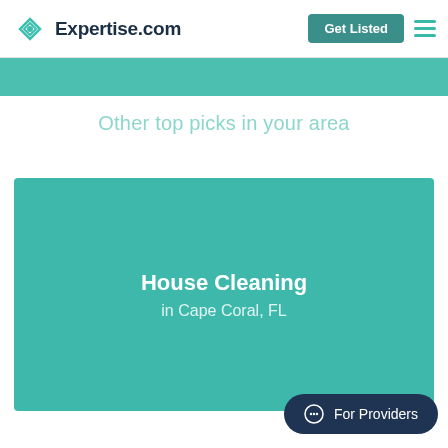Expertise.com
Other top picks in your area
[Figure (infographic): Teal card with text 'House Cleaning in Cape Coral, FL']
House Cleaning in Cape Coral, FL
For Providers